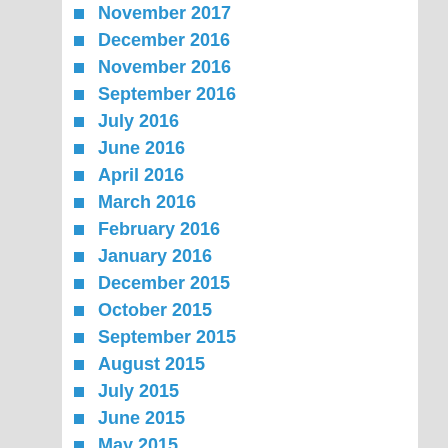November 2017
December 2016
November 2016
September 2016
July 2016
June 2016
April 2016
March 2016
February 2016
January 2016
December 2015
October 2015
September 2015
August 2015
July 2015
June 2015
May 2015
April 2015
March 2015
February 2015
January 2015
November 2014